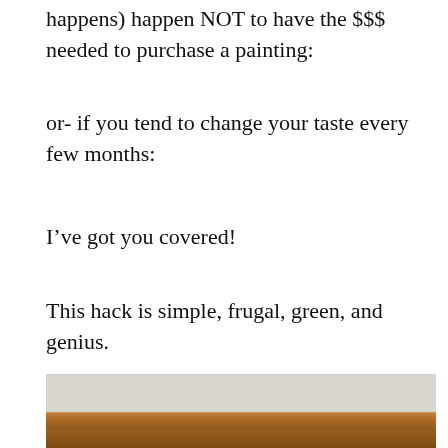happens) happen NOT to have the $$$ needed to purchase a painting:
or- if you tend to change your taste every few months:
I've got you covered!
This hack is simple, frugal, green, and genius.
[Figure (photo): A wooden shelf photographed against a light wall, showing the top and front edge of a natural pine/oak colored wooden bookshelf or display shelf.]